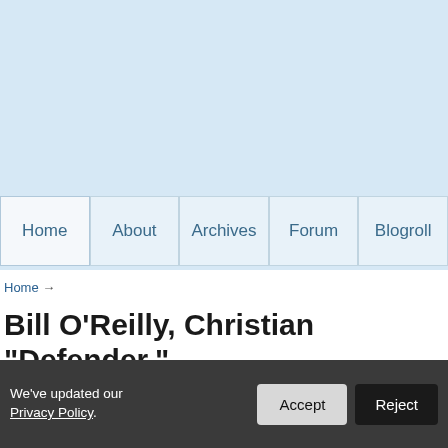[Figure (screenshot): Light blue website header/banner area]
Home | About | Archives | Forum | Blogroll
Home →
Bill O'Reilly, Christian "Defender," Says Opponents Of Anti-Gay Laws
We've updated our Privacy Policy. [Accept] [Reject]